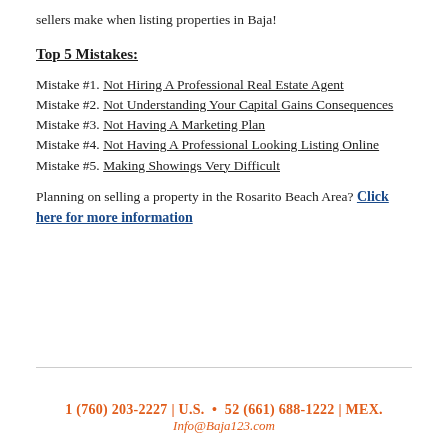sellers make when listing properties in Baja!
Top 5 Mistakes:
Mistake #1. Not Hiring A Professional Real Estate Agent
Mistake #2. Not Understanding Your Capital Gains Consequences
Mistake #3. Not Having A Marketing Plan
Mistake #4. Not Having A Professional Looking Listing Online
Mistake #5. Making Showings Very Difficult
Planning on selling a property in the Rosarito Beach Area? Click here for more information
1 (760) 203-2227 | U.S. • 52 (661) 688-1222 | MEX.
Info@Baja123.com